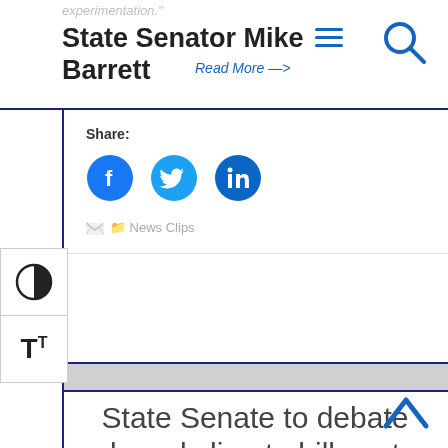State Senator Mike Barrett
Share:
[Figure (illustration): Social share buttons: Facebook, Twitter, LinkedIn as blue circles with white icons]
News Clips
State Senate to debate broad climate bill next week
April 7th, 2022 — WWLP